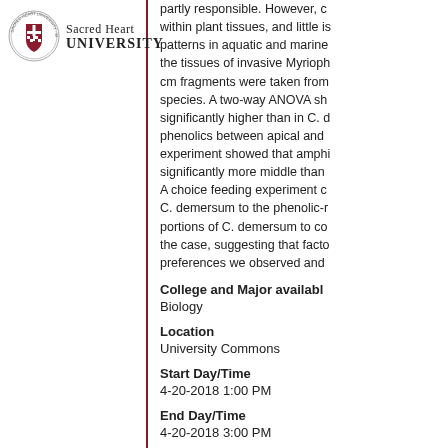[Figure (logo): Sacred Heart University circular seal/crest logo with cross and shield]
Sacred Heart UNIVERSITY
partly responsible. However, c... within plant tissues, and little is... patterns in aquatic and marine... the tissues of invasive Myrioph... cm fragments were taken from... species. A two-way ANOVA sh... significantly higher than in C. d... phenolics between apical and ... experiment showed that amphi... significantly more middle than ... A choice feeding experiment c... C. demersum to the phenolic-r... portions of C. demersum to co... the case, suggesting that facto... preferences we observed and ...
College and Major availabl...
Biology
Location
University Commons
Start Day/Time
4-20-2018 1:00 PM
End Day/Time
4-20-2018 3:00 PM